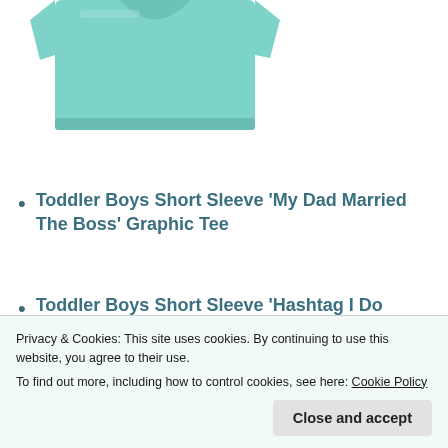[Figure (photo): Partial view of a mint/teal colored toddler short sleeve graphic tee, showing the folded garment from above]
Toddler Boys Short Sleeve ‘My Dad Married The Boss’ Graphic Tee
Toddler Boys Short Sleeve ‘Hashtag I Do What I Want’ Graphic Tee
Toddler Boys Short Sleeve ‘Mess Is An
Privacy & Cookies: This site uses cookies. By continuing to use this website, you agree to their use.
To find out more, including how to control cookies, see here: Cookie Policy